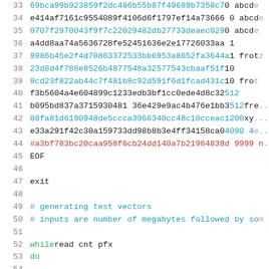Code listing lines 33-54, shell script with hex hashes and test vector generation
33  69bca99b923859f2dc486b55b87f49689b7358c7 0 abcd...
34  e414af7161c9554089f4106d6f1797ef14a73666 0 abcde...
35  0707f2970043f9f7c22029482db27733deaec029 0 abcde...
36  a4dd8aa74a5636728fe52451636e2e17726033aa 1
37  9986b45e2f4d70863372533bb6953a8652fa3644a 1 frotz...
38  23d8d4f788e8526b4877548a32577543cbaaf51f 10
39  8cd23f822ab44c7f481b8c92d591f6d1fcad431c 10 fro...
40  f3b5604a4e604899c1233edb3bf1cc0ede4d8c32 512
41  b095bd837a3715930481 36e429e9ac4b476e1bb3 512 fre...
42  08fa81d6190948de5ccca3966340cc48c10cceac 1200 xy...
43  e33a291f42c30a159733dd98b8b3e4ff34158ca0 4090 4...
44  #a3bf783bc20caa958f6cb24dd140a7b21984838d 9999 n...
45  EOF
46
47  exit
48
49  # generating test vectors
50  # inputs are number of megabytes followed by so...
51
52  while read cnt pfx
53  do
54  ...